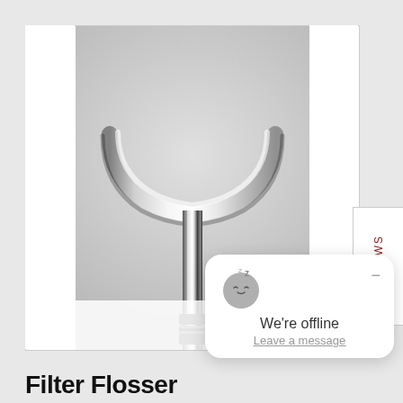[Figure (photo): A chrome/silver dental or medical flosser tool with a curved U-shaped top bar and a straight handle with a threaded connector section, photographed on a light gray background.]
[Figure (screenshot): A chat widget popup showing a sleeping face emoji with letter Z, a minimize button (dash), text 'We're offline' and 'Leave a message' link in gray underlined text.]
Filter Flosser